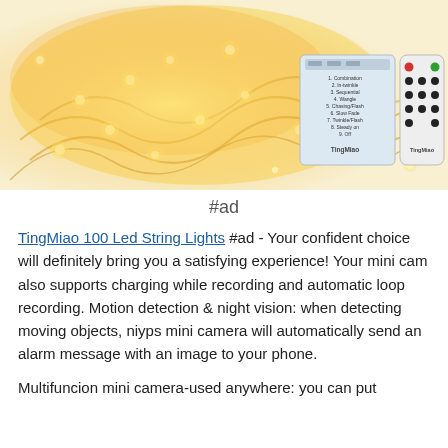[Figure (photo): Product photo of TingMiao LED string lights coiled in warm golden light, with a battery pack labeled TingMiao showing 9 light modes, and a remote control also branded TingMiao with multiple buttons]
#ad
TingMiao 100 Led String Lights #ad - Your confident choice will definitely bring you a satisfying experience! Your mini cam also supports charging while recording and automatic loop recording. Motion detection & night vision: when detecting moving objects, niyps mini camera will automatically send an alarm message with an image to your phone.
Multifuncion mini camera-used anywhere: you can put